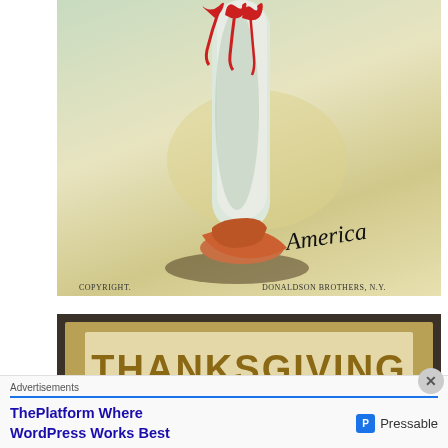[Figure (illustration): Vintage illustration showing a woman's leg in a white stocking with red ribbon bow, wearing a red shoe, casting a shadow. Cursive text 'America' at lower right. Bottom text reads 'COPYRIGHT.' on left and 'DONALDSON BROTHERS, N.Y.' on right.]
[Figure (photo): Vintage Thanksgiving postcard with dark brown border and gold card inner, showing the word 'THANKSGIVING' in large bold letters on a cream background, with a partial view of a child's face below the text.]
Advertisements
ThePlatform Where WordPress Works Best
Pressable